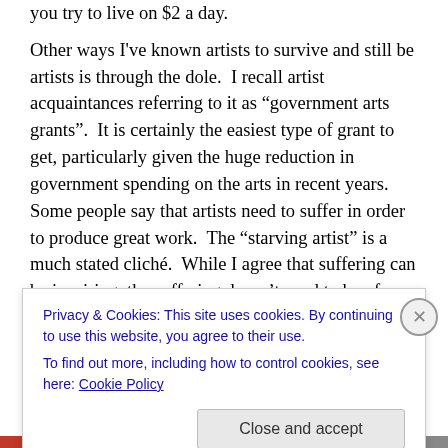you try to live on $2 a day.
Other ways I've known artists to survive and still be artists is through the dole. I recall artist acquaintances referring to it as "government arts grants". It is certainly the easiest type of grant to get, particularly given the huge reduction in government spending on the arts in recent years. Some people say that artists need to suffer in order to produce great work. The "starving artist" is a much stated cliché. While I agree that suffering can be inspiring, the suffering doesn't need to be of a financial nature. In my case it is more to do with my inner life, and I'm sure that's
Privacy & Cookies: This site uses cookies. By continuing to use this website, you agree to their use.
To find out more, including how to control cookies, see here: Cookie Policy